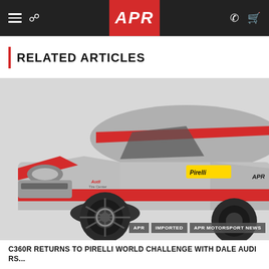APR - Navigation bar with hamburger menu, search, APR logo, phone and cart icons
RELATED ARTICLES
[Figure (illustration): Race car illustration - grey and red Audi RS5 racing car with number 71, TC class, C360R, with Pirelli, Optima, APR and other sponsor logos, Audi Tire Center text visible. Tags: APR, IMPORTED, APR MOTORSPORT NEWS]
C360R RETURNS TO PIRELLI WORLD CHALLENGE WITH DALE AUDI RS...